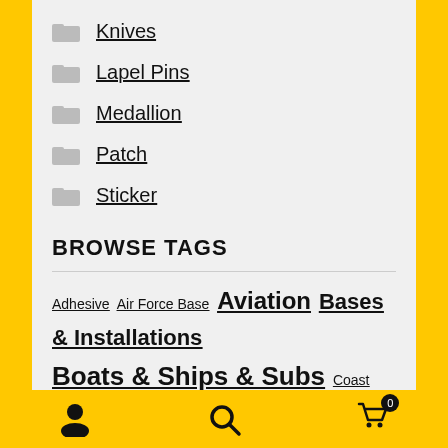Knives
Lapel Pins
Medallion
Patch
Sticker
BROWSE TAGS
Adhesive Air Force Base Aviation Bases & Installations Boats & Ships & Subs Coast Guard Station